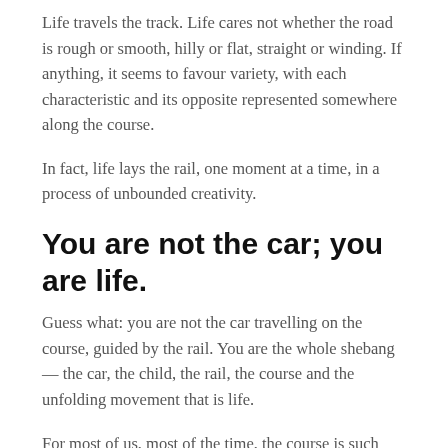Life travels the track. Life cares not whether the road is rough or smooth, hilly or flat, straight or winding. If anything, it seems to favour variety, with each characteristic and its opposite represented somewhere along the course.
In fact, life lays the rail, one moment at a time, in a process of unbounded creativity.
You are not the car; you are life.
Guess what: you are not the car travelling on the course, guided by the rail. You are the whole shebang — the car, the child, the rail, the course and the unfolding movement that is life.
For most of us, most of the time, the course is such that we feel we are only the car and our mind seems to be the driver. Really, we are the experiencing of the whole scene. The busy mind is